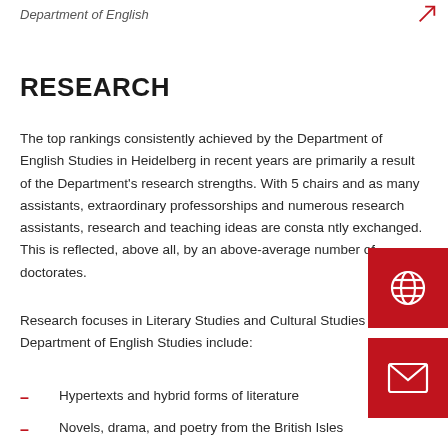Department of English
RESEARCH
The top rankings consistently achieved by the Department of English Studies in Heidelberg in recent years are primarily a result of the Department's research strengths. With 5 chairs and as many assistants, extraordinary professorships and numerous research assistants, research and teaching ideas are constantly exchanged. This is reflected, above all, by an above-average number of doctorates.
Research focuses in Literary Studies and Cultural Studies at the Department of English Studies include:
Hypertexts and hybrid forms of literature
Novels, drama, and poetry from the British Isles